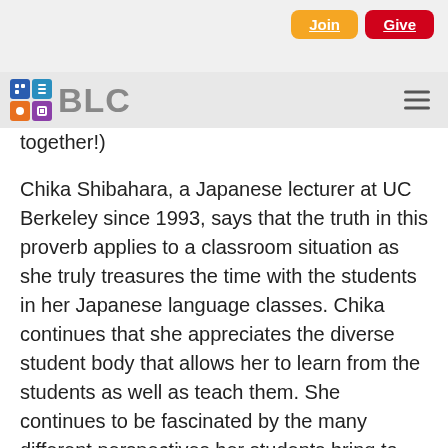Join | Give
[Figure (logo): BLC logo with four colored icon squares (blue, teal, orange, purple) and grey BLC text, with hamburger menu icon on right]
together!)
Chika Shibahara, a Japanese lecturer at UC Berkeley since 1993, says that the truth in this proverb applies to a classroom situation as she truly treasures the time with the students in her Japanese language classes. Chika continues that she appreciates the diverse student body that allows her to learn from the students as well as teach them. She continues to be fascinated by the many different perspectives her students bring to class.
Chika also adds that the San Francisco Bay Area is a perfect place for her: the climate, the large Asian community, the food, the diverse cultural elements, etc. She should know as she's lived in many other locations